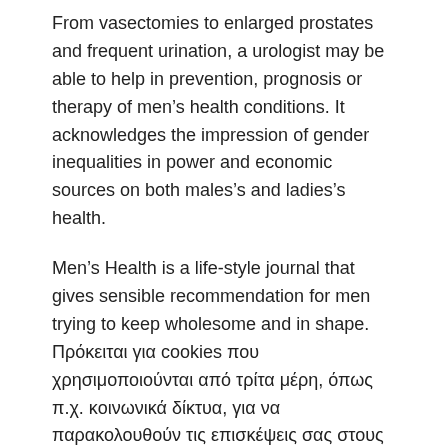From vasectomies to enlarged prostates and frequent urination, a urologist may be able to help in prevention, prognosis or therapy of men's health conditions. It acknowledges the impression of gender inequalities in power and economic sources on both males's and ladies's health.
Men's Health is a life-style journal that gives sensible recommendation for men trying to keep wholesome and in shape. Πρόκειται για cookies που χρησιμοποιούνται από τρίτα μέρη, όπως π.χ. κοινωνικά δίκτυα, για να παρακολουθούν τις επισκέψεις σας στους διάφορους ιστότοπους στους οποίους διαφημίζονται.
College of Iowa Health Care invitations you to take two to three minutes to finish a males's well being questionnaire. Evan Romano Evan is an associate editor for Males's Health, with bylines in The New York Occasions, MTV Information,